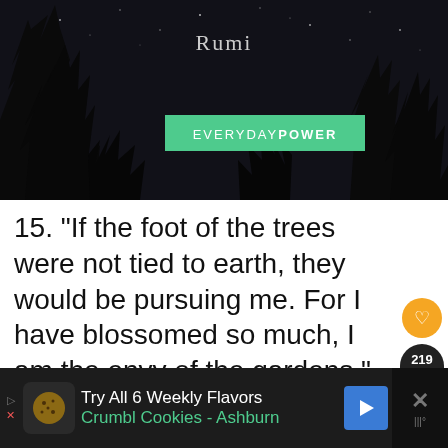[Figure (photo): Dark night sky with tree silhouettes and 'Rumi' text overlay with EVERYDAY POWER green badge]
15. “If the foot of the trees were not tied to earth, they would be pursuing me. For I have blossomed so much, I am the envy of the gardens.” – Rumi
[Figure (infographic): Social sidebar with heart button, share count 219, share button, and What's Next: Pablo Neruda Quotes Sure... panel with avatar]
[Figure (infographic): Ad bar: Try All 6 Weekly Flavors Crumbl Cookies - Ashburn with cookie icon, navigation arrow, and close button]